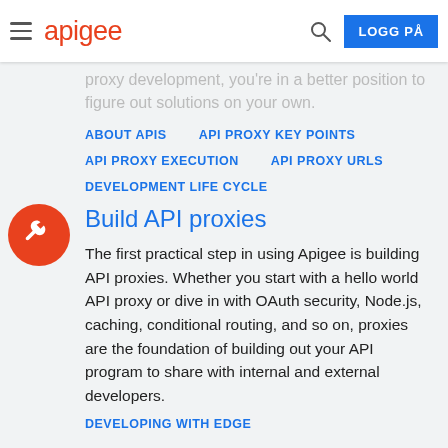apigee  LOGG PÅ
proxy development, you're in a better position to figure out solutions on your own.
ABOUT APIS
API PROXY KEY POINTS
API PROXY EXECUTION
API PROXY URLS
DEVELOPMENT LIFE CYCLE
Build API proxies
The first practical step in using Apigee is building API proxies. Whether you start with a hello world API proxy or dive in with OAuth security, Node.js, caching, conditional routing, and so on, proxies are the foundation of building out your API program to share with internal and external developers.
DEVELOPING WITH EDGE